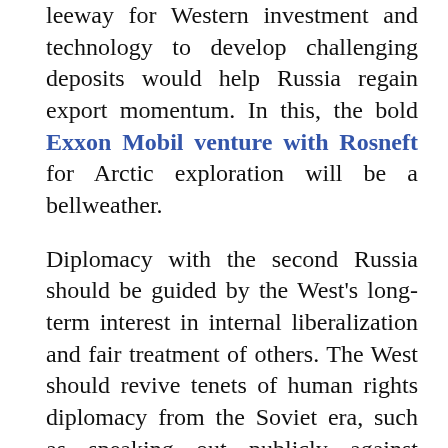leeway for Western investment and technology to develop challenging deposits would help Russia regain export momentum. In this, the bold Exxon Mobil venture with Rosneft for Arctic exploration will be a bellweather.
Diplomacy with the second Russia should be guided by the West's long-term interest in internal liberalization and fair treatment of others. The West should revive tenets of human rights diplomacy from the Soviet era, such as speaking out publicly against repression and raising individual cases of injustice at high levels. The West has been too quiet about systematic human rights abuses in the North Caucasus.
But outsiders can do little to advance reform in Russia except through personal interaction and Internet communication. The Kremlin ended U.S.A.I.D. programs, though the E.U.-Russia civil society forum remains helpful. Courageous foreign-funded